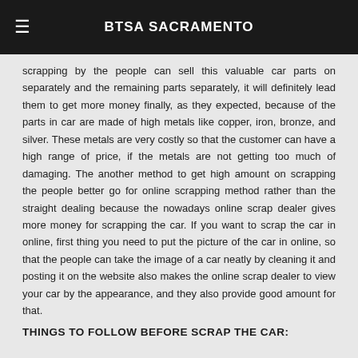BTSA SACRAMENTO
scrapping by the people can sell this valuable car parts on separately and the remaining parts separately, it will definitely lead them to get more money finally, as they expected, because of the parts in car are made of high metals like copper, iron, bronze, and silver. These metals are very costly so that the customer can have a high range of price, if the metals are not getting too much of damaging. The another method to get high amount on scrapping the people better go for online scrapping method rather than the straight dealing because the nowadays online scrap dealer gives more money for scrapping the car. If you want to scrap the car in online, first thing you need to put the picture of the car in online, so that the people can take the image of a car neatly by cleaning it and posting it on the website also makes the online scrap dealer to view your car by the appearance, and they also provide good amount for that.
THINGS TO FOLLOW BEFORE SCRAP THE CAR: